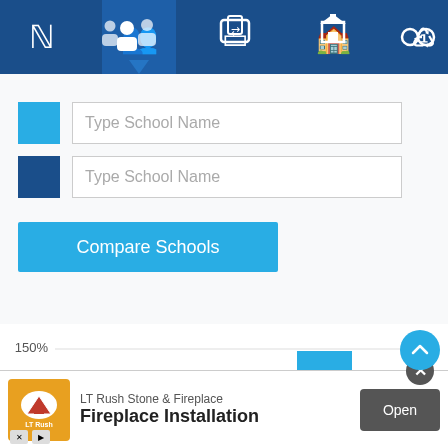[Figure (screenshot): Top navigation bar with icons: analytics, people/group, compare, school building, criminal justice symbols on dark blue background]
[Figure (screenshot): School comparison UI with two input fields labeled 'Type School Name' with color swatches (light blue and dark blue) and a 'Compare Schools' button]
[Figure (bar-chart): Bar chart with 4 blue bars showing percentages above 100%, with a red horizontal line labeled 'State Avg', y-axis shows 0, 50%, 150%]
[Figure (screenshot): Advertisement banner for LT Rush Stone & Fireplace - Fireplace Installation with Open button and close X button]